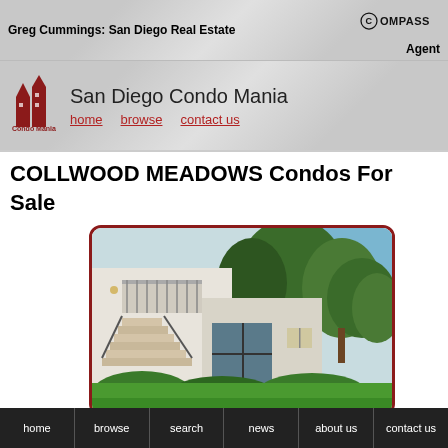Greg Cummings: San Diego Real Estate | COMPASS Agent
[Figure (logo): Condo Mania logo with red building icon and text 'Condo Mania']
San Diego Condo Mania
home   browse   contact us
COLLWOOD MEADOWS Condos For Sale
[Figure (photo): Exterior photo of Collwood Meadows condo complex showing staircase, balcony, beige buildings, large green trees, landscaped shrubs and lawn]
home   browse   search   news   about us   contact us